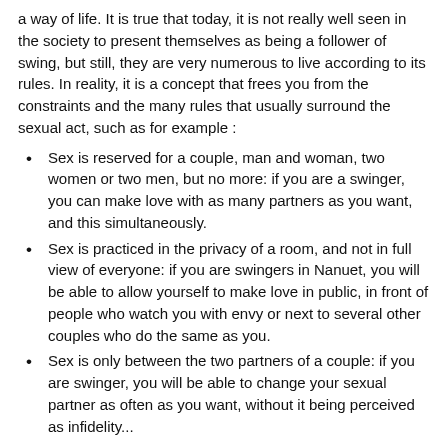a way of life. It is true that today, it is not really well seen in the society to present themselves as being a follower of swing, but still, they are very numerous to live according to its rules. In reality, it is a concept that frees you from the constraints and the many rules that usually surround the sexual act, such as for example :
Sex is reserved for a couple, man and woman, two women or two men, but no more: if you are a swinger, you can make love with as many partners as you want, and this simultaneously.
Sex is practiced in the privacy of a room, and not in full view of everyone: if you are swingers in Nanuet, you will be able to allow yourself to make love in public, in front of people who watch you with envy or next to several other couples who do the same as you.
Sex is only between the two partners of a couple: if you are swinger, you will be able to change your sexual partner as often as you want, without it being perceived as infidelity...
Interesting, isn't it? All these absences of rules in the swinging